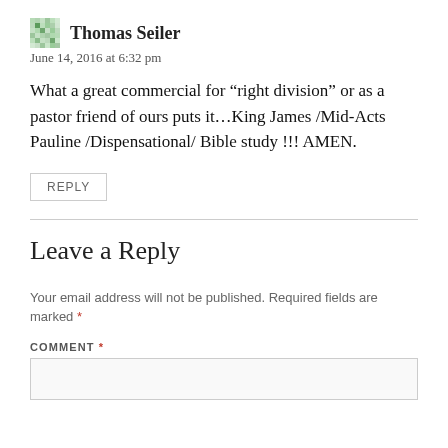Thomas Seiler
June 14, 2016 at 6:32 pm
What a great commercial for “right division” or as a pastor friend of ours puts it…King James /Mid-Acts Pauline /Dispensational/ Bible study !!! AMEN.
REPLY
Leave a Reply
Your email address will not be published. Required fields are marked *
COMMENT *